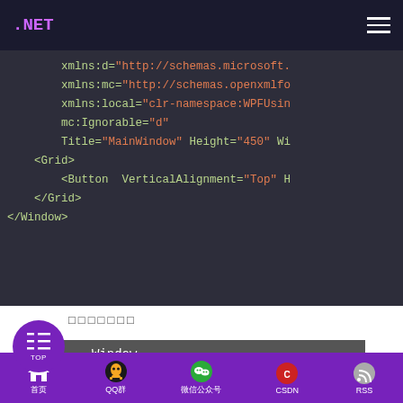.NET [menu icon]
[Figure (screenshot): Code editor screenshot showing XAML markup with xmlns:d, xmlns:mc, xmlns:local attributes, mc:Ignorable, Title=MainWindow, Height=450, Grid, Button VerticalAlignment=Top, /Grid, /Window elements on dark background]
□□□□□□□
[Figure (screenshot): App window preview showing a dark grey bar with 'Window' text, and a yellow bar below with Chinese text '我是跨程序集使用资源', with a purple TOC button on the left]
首页  QQ群  微信公众号  CSDN  RSS